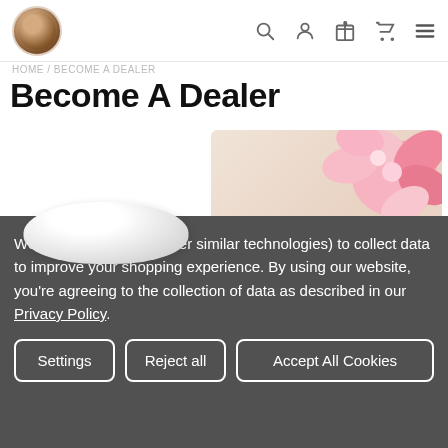Pearl's Gold — navigation header with logo and icons
HOME / BECOME A DEALER
Become A Dealer
[Figure (photo): White jar of Daily Facial Moisturizer with Jasmine CBD, Full Spectrum product]
[Figure (photo): Dark jar of Pearl's Gold CBD Pet Relief Cream, 100mg CBD Full Spectrum with Lavender E.O., with pink flowers in background]
We use cookies (and other similar technologies) to collect data to improve your shopping experience. By using our website, you're agreeing to the collection of data as described in our Privacy Policy.
Settings  Reject all  Accept All Cookies